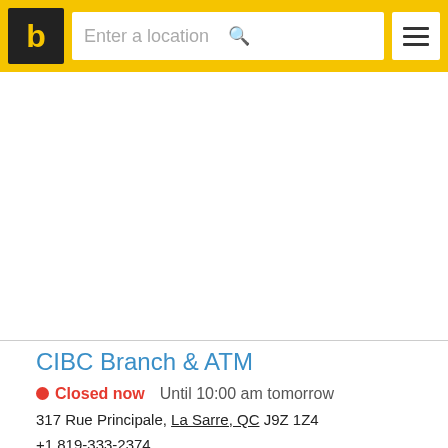b | Enter a location
[Figure (screenshot): White advertisement/map area below the header navigation bar]
CIBC Branch & ATM
Closed now  Until 10:00 am tomorrow
317 Rue Principale, La Sarre, QC J9Z 1Z4
+1 819-333-2374
locations.cibc.com
Banks in La Sarre, Quebec;
Views: 18; Reviews: 0;
Contacts • Hours • Reviews • Gallery